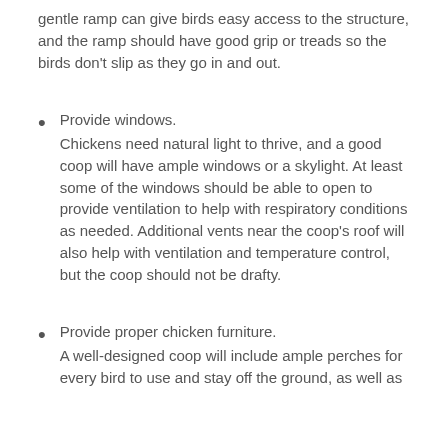gentle ramp can give birds easy access to the structure, and the ramp should have good grip or treads so the birds don’t slip as they go in and out.
Provide windows.
Chickens need natural light to thrive, and a good coop will have ample windows or a skylight. At least some of the windows should be able to open to provide ventilation to help with respiratory conditions as needed. Additional vents near the coop’s roof will also help with ventilation and temperature control, but the coop should not be drafty.
Provide proper chicken furniture.
A well-designed coop will include ample perches for every bird to use and stay off the ground, as well as